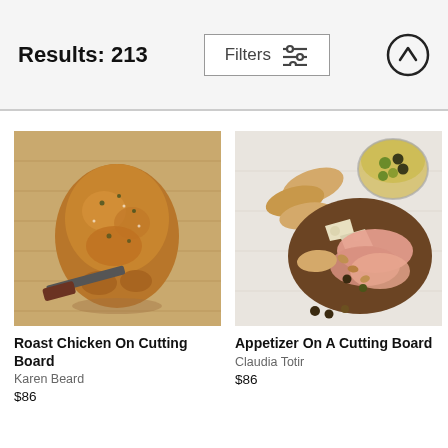Results: 213
[Figure (screenshot): Filters button with sliders icon and up-arrow circle button in the header bar]
[Figure (photo): Photo of a roast chicken on a wooden cutting board with a knife]
Roast Chicken On Cutting Board
Karen Beard
$86
[Figure (photo): Photo of an appetizer on a cutting board with cured meats, cheese, bread, olives and nuts, with a glass bowl of olives in background]
Appetizer On A Cutting Board
Claudia Totir
$86